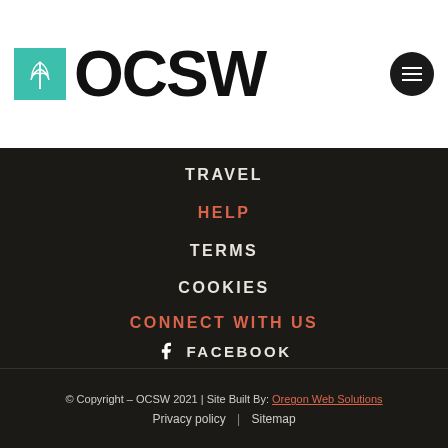[Figure (logo): OCSW logo with teal square icon showing open book/wheat design and bold OCSW text, plus hamburger menu icon]
TRAVEL
HELP
TERMS
COOKIES
CONNECT WITH US
FACEBOOK
TWITTER
YOUTUBE
© Copyright – OCSW 2021 | Site Built By: Oregon Web Solutions
Privacy policy | Sitemap